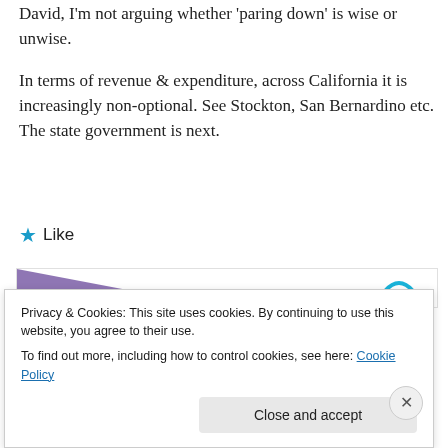David, I'm not arguing whether 'paring down' is wise or unwise.
In terms of revenue & expenditure, across California it is increasingly non-optional. See Stockton, San Bernardino etc. The state government is next.
★ Like
[Figure (other): Advertisement banner with purple gradient triangle on left and cyan arc icon with 'REPORT THIS AD' text on right]
Privacy & Cookies: This site uses cookies. By continuing to use this website, you agree to their use.
To find out more, including how to control cookies, see here: Cookie Policy
Close and accept